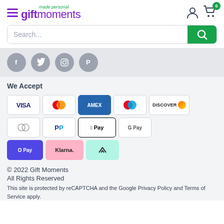[Figure (logo): Gift Moments logo with hamburger menu, user icon, and cart icon with badge 0]
[Figure (screenshot): Search bar with green search button]
[Figure (infographic): Social media icons: Facebook, Twitter, Instagram, Pinterest]
We Accept
[Figure (infographic): Payment method logos: VISA, Mastercard, AMEX, Maestro, Discover, Diners Club, PayPal, Apple Pay, Google Pay, OPay, Klarna, Afterpay]
© 2022 Gift Moments
All Rights Reserved
This site is protected by reCAPTCHA and the Google Privacy Policy and Terms of Service apply.